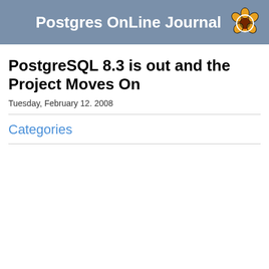Postgres OnLine Journal
PostgreSQL 8.3 is out and the Project Moves On
Tuesday, February 12. 2008
Categories